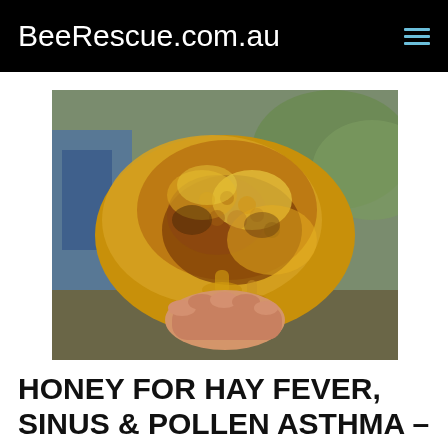BeeRescue.com.au
[Figure (photo): A hand holding a piece of raw honeycomb dripping with honey, with a blurred outdoor background showing blue machinery and green grass.]
HONEY FOR HAY FEVER, SINUS & POLLEN ASTHMA – GREAT FEEDBACK ACROSS